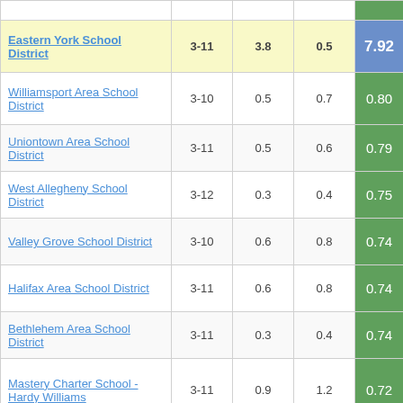| School District | Grades | Col3 | Col4 | Score |
| --- | --- | --- | --- | --- |
| Eastern York School District | 3-11 | 3.8 | 0.5 | 7.92 |
| Williamsport Area School District | 3-10 | 0.5 | 0.7 | 0.80 |
| Uniontown Area School District | 3-11 | 0.5 | 0.6 | 0.79 |
| West Allegheny School District | 3-12 | 0.3 | 0.4 | 0.75 |
| Valley Grove School District | 3-10 | 0.6 | 0.8 | 0.74 |
| Halifax Area School District | 3-11 | 0.6 | 0.8 | 0.74 |
| Bethlehem Area School District | 3-11 | 0.3 | 0.4 | 0.74 |
| Mastery Charter School - Hardy Williams | 3-11 | 0.9 | 1.2 | 0.72 |